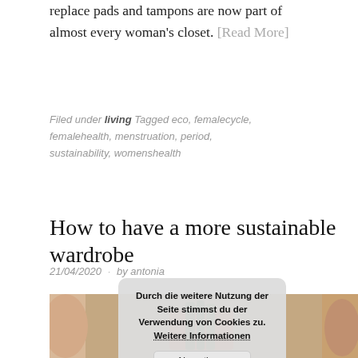replace pads and tampons are now part of almost every woman's closet. [Read More]
Filed under living Tagged eco, femalecycle, femalehealth, menstruation, period, sustainability, womenshealth
How to have a more sustainable wardrobe
21/04/2020 · by antonia
[Figure (photo): A photo showing hands holding flowers, partially visible, with an orange/red floral arrangement and greenery against a warm background.]
Durch die weitere Nutzung der Seite stimmst du der Verwendung von Cookies zu. Weitere Informationen
Akzeptieren